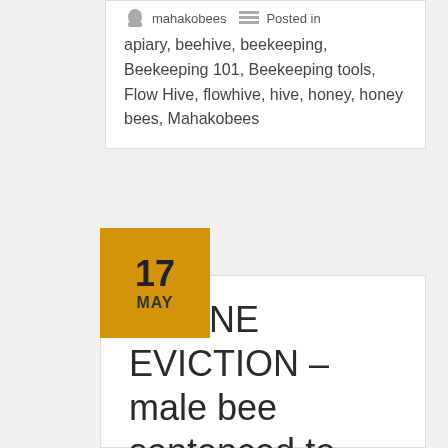mahakobees  Posted in apiary, beehive, beekeeping, Beekeeping 101, Beekeeping tools, Flow Hive, flowhive, hive, honey, honey bees, Mahakobees
17 MAY
DRONE EVICTION – male bee sentenced to death by Worker Bee
Click to WATCH DRONE